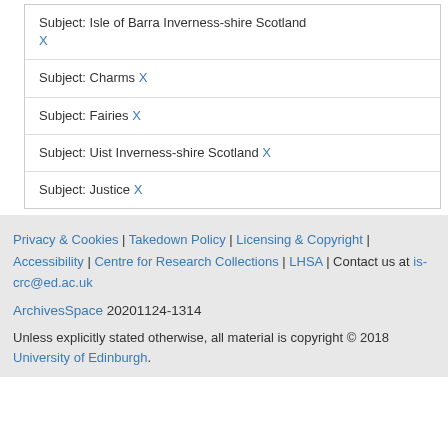Subject: Isle of Barra Inverness-shire Scotland X
Subject: Charms X
Subject: Fairies X
Subject: Uist Inverness-shire Scotland X
Subject: Justice X
Privacy & Cookies | Takedown Policy | Licensing & Copyright | Accessibility | Centre for Research Collections | LHSA | Contact us at is-crc@ed.ac.uk
ArchivesSpace 20201124-1314
Unless explicitly stated otherwise, all material is copyright © 2018 University of Edinburgh.